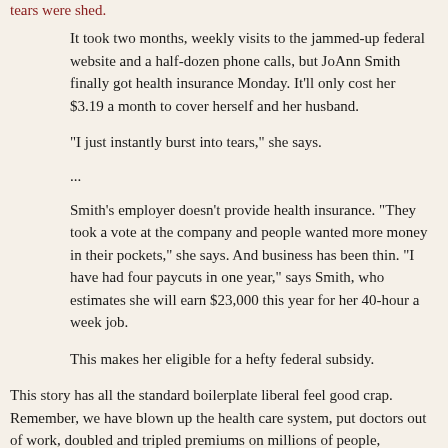tears were shed.
It took two months, weekly visits to the jammed-up federal website and a half-dozen phone calls, but JoAnn Smith finally got health insurance Monday. It’ll only cost her $3.19 a month to cover herself and her husband.
“I just instantly burst into tears,” she says.
...
Smith’s employer doesn’t provide health insurance. “They took a vote at the company and people wanted more money in their pockets,” she says. And business has been thin. “I have had four paycuts in one year,” says Smith, who estimates she will earn $23,000 this year for her 40-hour a week job.
This makes her eligible for a hefty federal subsidy.
This story has all the standard boilerplate liberal feel good crap. Remember, we have blown up the health care system, put doctors out of work, doubled and tripled premiums on millions of people,